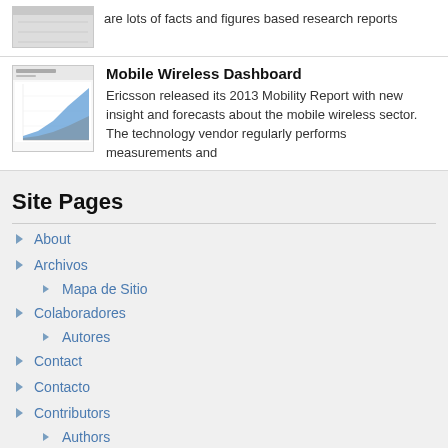[Figure (screenshot): Small thumbnail image (partially visible, top cut off) showing a gray/white document or chart preview]
are lots of facts and figures based research reports
[Figure (screenshot): Small thumbnail showing a dashboard with an area chart with blue and orange filled areas on a white background with axis labels]
Mobile Wireless Dashboard
Ericsson released its 2013 Mobility Report with new insight and forecasts about the mobile wireless sector. The technology vendor regularly performs measurements and
Site Pages
About
Archivos
Mapa de Sitio
Colaboradores
Autores
Contact
Contacto
Contributors
Authors
Inicio
Login